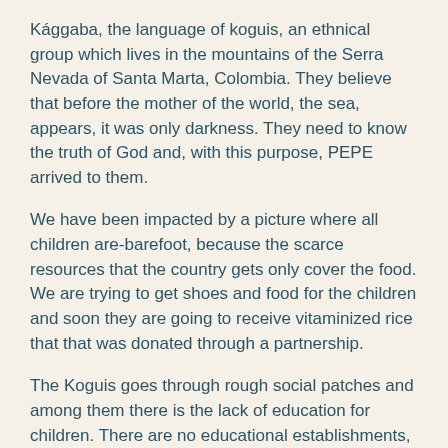Kággaba, the language of koguis, an ethnical group which lives in the mountains of the Serra Nevada of Santa Marta, Colombia. They believe that before the mother of the world, the sea, appears, it was only darkness. They need to know the truth of God and, with this purpose, PEPE arrived to them.
We have been impacted by a picture where all children are-barefoot, because the scarce resources that the country gets only cover the food. We are trying to get shoes and food for the children and soon they are going to receive vitaminized rice that that was donated through a partnership.
The Koguis goes through rough social patches and among them there is the lack of education for children. There are no educational establishments, and they live far from the main cities of the region. Because of this, they can only start studying when they are around 12 years old. But, to the glory of God, this reality is changing.
We set up a unit of PEPE with 40 children there and